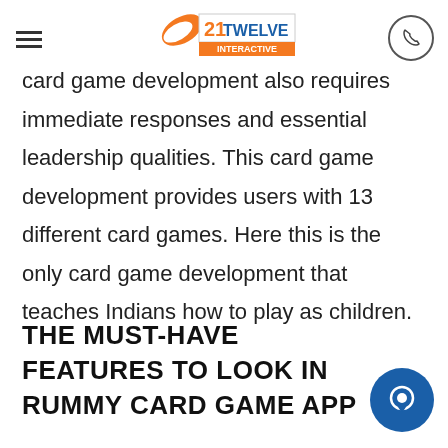21Twelve Interactive — navigation header with logo and phone icon
card game development also requires immediate responses and essential leadership qualities. This card game development provides users with 13 different card games. Here this is the only card game development that teaches Indians how to play as children.
THE MUST-HAVE FEATURES TO LOOK IN RUMMY CARD GAME APP